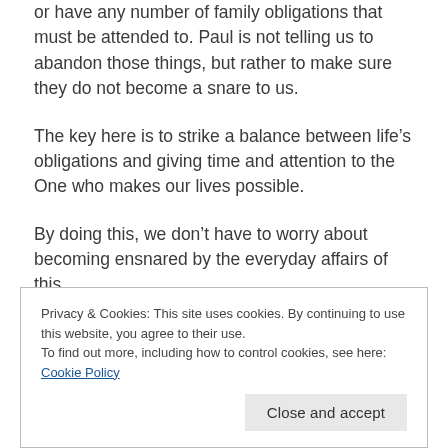or have any number of family obligations that must be attended to. Paul is not telling us to abandon those things, but rather to make sure they do not become a snare to us.
The key here is to strike a balance between life's obligations and giving time and attention to the One who makes our lives possible.
By doing this, we don't have to worry about becoming ensnared by the everyday affairs of this
Privacy & Cookies: This site uses cookies. By continuing to use this website, you agree to their use.
To find out more, including how to control cookies, see here: Cookie Policy